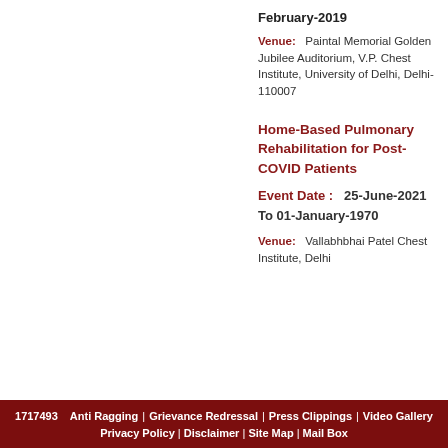February-2019
Venue: Paintal Memorial Golden Jubilee Auditorium, V.P. Chest Institute, University of Delhi, Delhi- 110007
Home-Based Pulmonary Rehabilitation for Post-COVID Patients
Event Date : 25-June-2021 To 01-January-1970
Venue: Vallabhbhai Patel Chest Institute, Delhi
1717493 Anti Ragging | Grievance Redressal | Press Clippings | Video Gallery | Privacy Policy | Disclaimer | Site Map | Mail Box